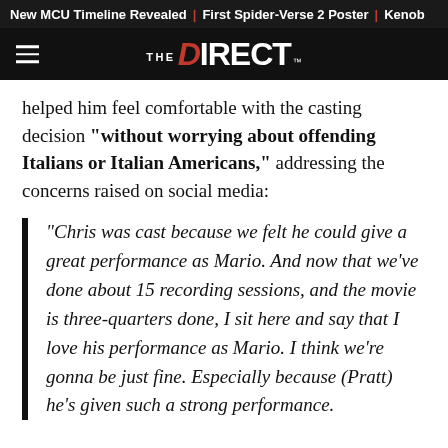New MCU Timeline Revealed | First Spider-Verse 2 Poster | Kenob
[Figure (logo): The Direct website logo — hamburger menu icon on left, THE DIRECT wordmark in white on black background]
helped him feel comfortable with the casting decision "without worrying about offending Italians or Italian Americans," addressing the concerns raised on social media:
“Chris was cast because we felt he could give a great performance as Mario. And now that we’ve done about 15 recording sessions, and the movie is three-quarters done, I sit here and say that I love his performance as Mario. I think we’re gonna be just fine. Especially because (Pratt) he’s given such a strong performance.